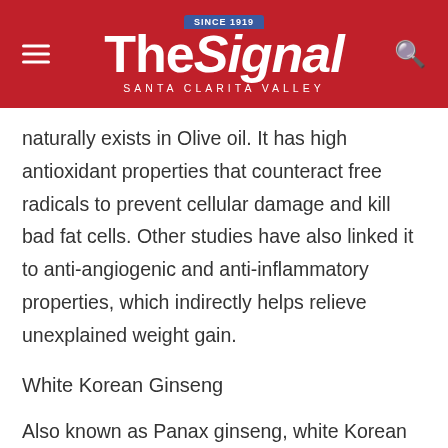The Signal — SANTA CLARITA VALLEY — SINCE 1919
naturally exists in Olive oil. It has high antioxidant properties that counteract free radicals to prevent cellular damage and kill bad fat cells. Other studies have also linked it to anti-angiogenic and anti-inflammatory properties, which indirectly helps relieve unexplained weight gain.
White Korean Ginseng
Also known as Panax ginseng, white Korean ginseng has also been found to boost brown adipose tissues while helping to sustain a variety of other health